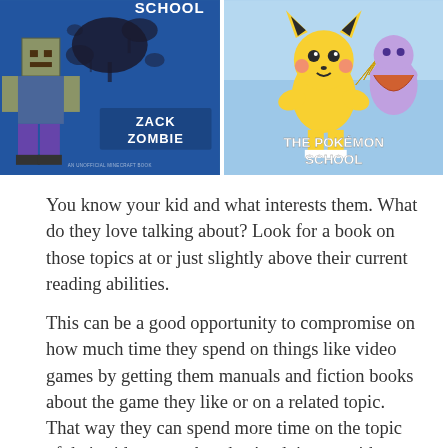[Figure (illustration): Two book covers side by side. Left: A Minecraft/Zack Zombie themed book with a blue background, a blocky lego-like character, ink splats, and text 'ZACK ZOMBIE'. Right: A Pokemon School book with a light blue background showing Pikachu and another Pokemon character ice skating, with text 'THE POKÉMON SCHOOL'.]
You know your kid and what interests them. What do they love talking about? Look for a book on those topics at or just slightly above their current reading abilities.
This can be a good opportunity to compromise on how much time they spend on things like video games by getting them manuals and fiction books about the game they like or on a related topic. That way they can spend more time on the topic of their video game but they're doing so with a book. Win-win for everybody.